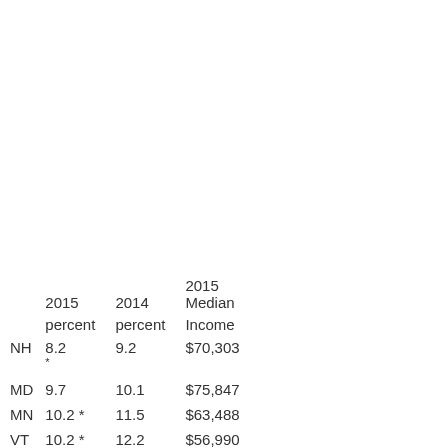|  | 2015
percent | 2014
percent | 2015
Median Income |
| --- | --- | --- | --- |
| NH | 8.2
* | 9.2 | $70,303 |
| MD | 9.7 | 10.1 | $75,847 |
| MN | 10.2 * | 11.5 | $63,488 |
| VT | 10.2 * | 12.2 | $56,990 |